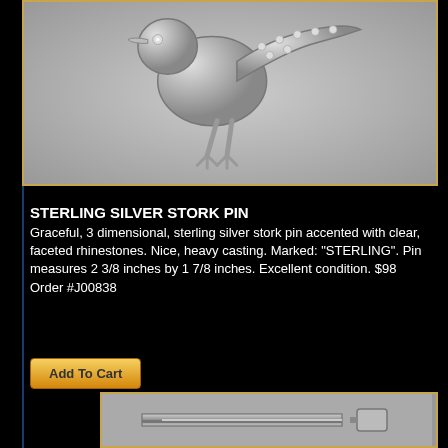[Figure (photo): Sterling silver stork pin with rhinestones, 3D casting, side view showing the bird standing with wings accented with clear faceted rhinestones]
STERLING SILVER STORK PIN
Graceful, 3 dimensional, sterling silver stork pin accented with clear, faceted rhinestones. Nice, heavy casting. Marked: "STERLING". Pin measures 2 3/8 inches by 1 7/8 inches. Excellent condition. $98 Order #J00838
[Figure (photo): Sterling silver pin back mechanism showing the clasp hardware, bottom view of a decorative silver pin]